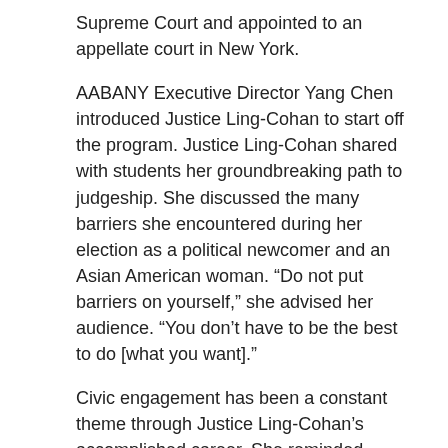Supreme Court and appointed to an appellate court in New York.
AABANY Executive Director Yang Chen introduced Justice Ling-Cohan to start off the program. Justice Ling-Cohan shared with students her groundbreaking path to judgeship. She discussed the many barriers she encountered during her election as a political newcomer and an Asian American woman. “Do not put barriers on yourself,” she advised her audience. “You don’t have to be the best to do [what you want].”
Civic engagement has been a constant theme through Justice Ling-Cohan’s accomplished career. She reminded students that they do not have to work in the public sector to be of service. “Anyone can have a foot in their community. There is so much you can do… compose op-eds, start petitions and campaigns.”
The panels were then held with speakers and discussed...